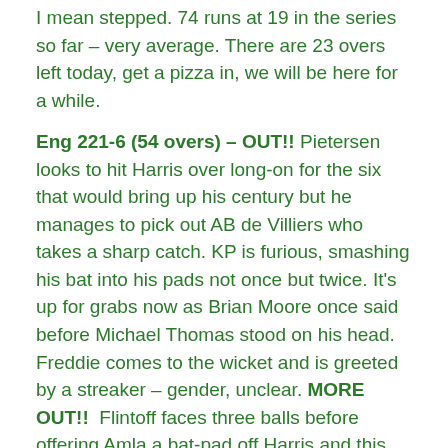I mean stepped. 74 runs at 19 in the series so far – very average. There are 23 overs left today, get a pizza in, we will be here for a while.
Eng 221-6 (54 overs) – OUT!! Pietersen looks to hit Harris over long-on for the six that would bring up his century but he manages to pick out AB de Villiers who takes a sharp catch. KP is furious, smashing his bat into his pads not once but twice. It's up for grabs now as Brian Moore once said before Michael Thomas stood on his head. Freddie comes to the wicket and is greeted by a streaker – gender, unclear. MORE OUT!! Flintoff faces three balls before offering Amla a bat-pad off Harris and this game has been turned on its head again.
(it's 18:10 and I'm adding a bit more) Eng 219-4 (53 overs) – RAZZLE DAZZLE!! Pietersen does execute the switch hit...